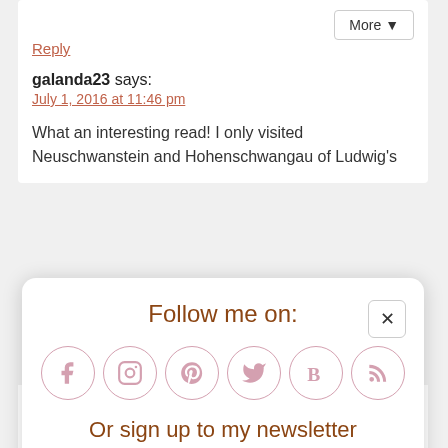More ▼
Reply
galanda23 says:
July 1, 2016 at 11:46 pm
What an interesting read! I only visited Neuschwanstein and Hohenschwangau of Ludwig's
[Figure (infographic): Follow me on social media modal popup with Facebook, Instagram, Pinterest, Twitter, Bloglovin, RSS icons and a newsletter signup form]
Yes, his castles are absolutely stunning. He has another castle called Schloss Herrnchiemsee